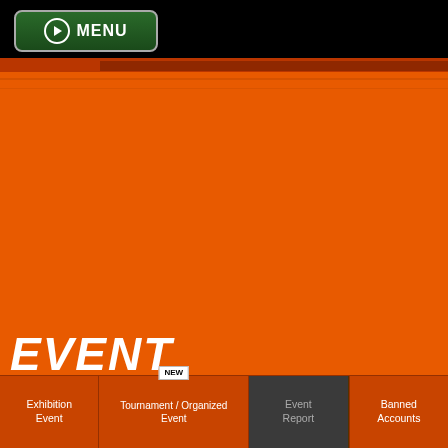MENU
[Figure (screenshot): Orange banner/hero image area for a gaming event website]
EVENT
Exhibition Event
Tournament / Organized Event
Event Report
Banned Accounts
IMPORTANT UPDATE REGARDING ORGANIZED PLAY EVENTS
1 March 2022